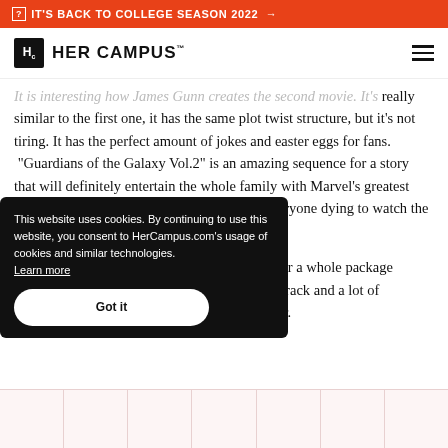IT'S BACK TO COLLEGE SEASON 2022 →
HER CAMPUS
It is interesting how James Gunn creates the second movie. It's really similar to the first one, it has the same plot twist structure, but it's not tiring. It has the perfect amount of jokes and easter eggs for fans. "Guardians of the Galaxy Vol.2" is an amazing sequence for a story that will definitely entertain the whole family with Marvel's greatest anti-heroes. The post-credits scenes leaves everyone dying to watch the next movie.
It is a good option for those who are looking for a whole package movie: great special effects, contagious soundtrack and a lot of [fun]. [It could be the fu]nniest movie of the year.
This website uses cookies. By continuing to use this website, you consent to HerCampus.com's usage of cookies and similar technologies. Learn more  Got it